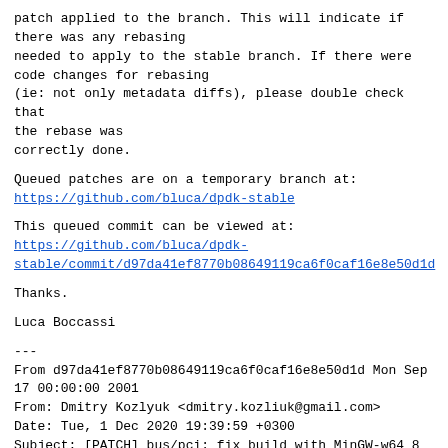patch applied to the branch. This will indicate if there was any rebasing needed to apply to the stable branch. If there were code changes for rebasing (ie: not only metadata diffs), please double check that the rebase was correctly done.
Queued patches are on a temporary branch at: https://github.com/bluca/dpdk-stable
This queued commit can be viewed at: https://github.com/bluca/dpdk-stable/commit/d97da41ef8770b08649119ca6f0caf16e8e50d1d
Thanks.
Luca Boccassi
---
From d97da41ef8770b08649119ca6f0caf16e8e50d1d Mon Sep 17 00:00:00 2001
From: Dmitry Kozlyuk <dmitry.kozliuk@gmail.com>
Date: Tue, 1 Dec 2020 19:39:59 +0300
Subject: [PATCH] bus/pci: fix build with MinGW-w64 8
[ upstream commit de785ba0565ceb5d91d3f397606e5021efd53d84 ]
Fix redefinition of GUID, missing from previous